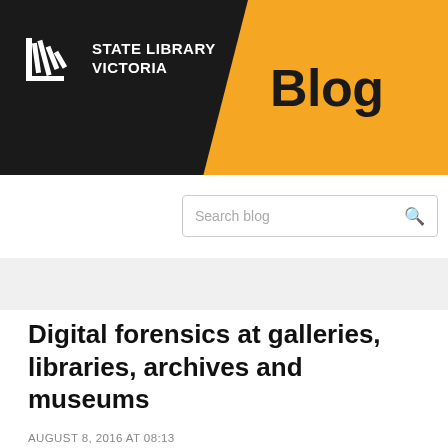[Figure (logo): State Library Victoria logo with icon and text on black background, with 'Blog' text on amber/gold background]
Search blog
Digital forensics at galleries, libraries, archives and museums
AUGUST 8, 2016 AT 08:13
BY ADMIN
IN PRESERVATION